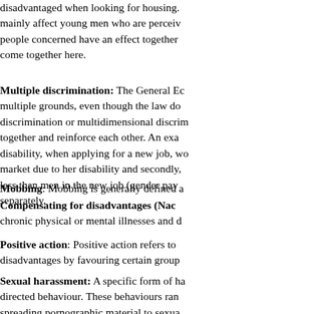disadvantaged when looking for housing. mainly affect young men who are perceiv people concerned have an effect together come together here.
Multiple discrimination: The General Ec multiple grounds, even though the law do discrimination or multidimensional discrim together and reinforce each other. An exa disability, when applying for a new job, wo market due to her disability and secondly, less than men in the new job (gender pay separately.
Mobbing: Mobbing is generally defined a
Compensating for disadvantages (Nac chronic physical or mental illnesses and d
Positive action: Positive action refers to disadvantages by favouring certain group
Sexual harassment: A specific form of ha directed behaviour. These behaviours ran spreading pornographic material to sexua person concerned. The decisive factor is n
Stalking: Stalking includes the direct or i and thereby interfere with his or her freed